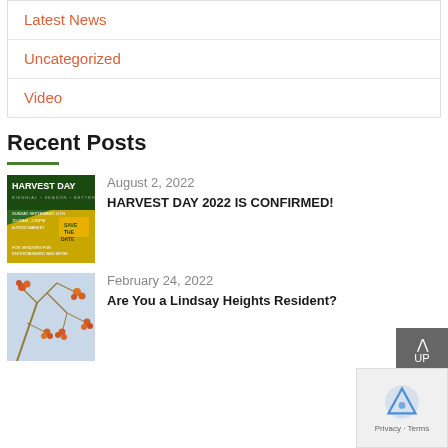Latest News
Uncategorized
Video
Recent Posts
August 2, 2022
HARVEST DAY 2022 IS CONFIRMED!
[Figure (photo): Harvest Day 2022 Save the Date flyer with yellow and green design]
February 24, 2022
Are You a Lindsay Heights Resident?
[Figure (photo): Photo of colorful berries on branches in winter]